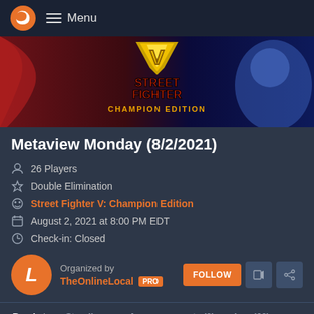Menu
[Figure (illustration): Street Fighter V Champion Edition banner with game logo, character art on red and blue background]
Metaview Monday (8/2/2021)
26 Players
Double Elimination
Street Fighter V: Champion Edition
August 2, 2021 at 8:00 PM EDT
Check-in: Closed
Organized by TheOnlineLocal PRO
Bracket  Standings  Announcements (0)  Log (60)